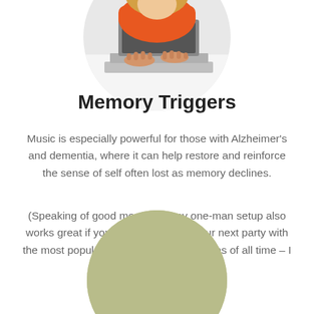[Figure (photo): Circular cropped photo of a woman in an orange/red top typing on a laptop, viewed from above/side angle, white background.]
Memory Triggers
Music is especially powerful for those with Alzheimer's and dementia, where it can help restore and reinforce the sense of self often lost as memory declines.
(Speaking of good memories, my one-man setup also works great if you'd like to liven up your next party with the most popular "ballroom" dancing tunes of all time – I invite you to
+ Show More
[Figure (illustration): Circular cropped image with olive/sage green color, partially visible at bottom of page.]